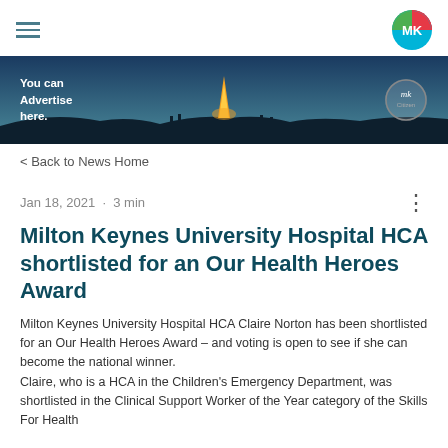Navigation bar with hamburger menu and MK logo
[Figure (photo): Banner advertisement with dark blue twilight sky background, silhouetted figures on a hill around a lit structure, text 'You can Advertise here.' on the left, and a circular MK Citizen logo on the right.]
< Back to News Home
Jan 18, 2021  •  3 min
Milton Keynes University Hospital HCA shortlisted for an Our Health Heroes Award
Milton Keynes University Hospital HCA Claire Norton has been shortlisted for an Our Health Heroes Award – and voting is open to see if she can become the national winner.
Claire, who is a HCA in the Children's Emergency Department, was shortlisted in the Clinical Support Worker of the Year category of the Skills For Health